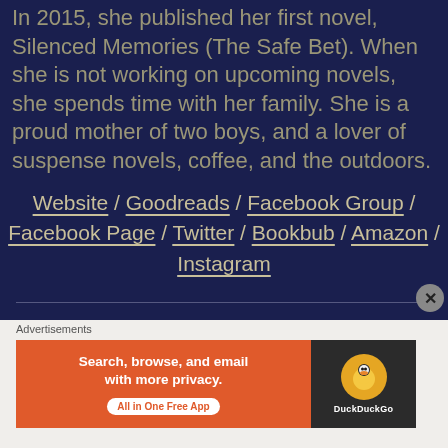In 2015, she published her first novel, Silenced Memories (The Safe Bet). When she is not working on upcoming novels, she spends time with her family. She is a proud mother of two boys, and a lover of suspense novels, coffee, and the outdoors.
Website / Goodreads / Facebook Group / Facebook Page / Twitter / Bookbub / Amazon / Instagram
[Figure (other): DuckDuckGo advertisement banner: 'Search, browse, and email with more privacy. All in One Free App' with DuckDuckGo logo on dark right panel]